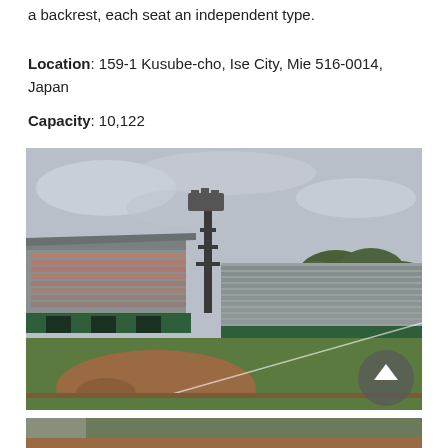a backrest, each seat an independent type.
Location: 159-1 Kusube-cho, Ise City, Mie 516-0014, Japan
Capacity: 10,122
[Figure (photo): Photograph of a baseball stadium showing a grandstand with tiered seating, a floodlight tower in the center background, green grass field, red dirt infield, and trees visible in the right background under an overcast sky. A scroll-to-top button is visible in the bottom-right corner of the image.]
[Figure (photo): Partial bottom strip of another stadium photograph.]